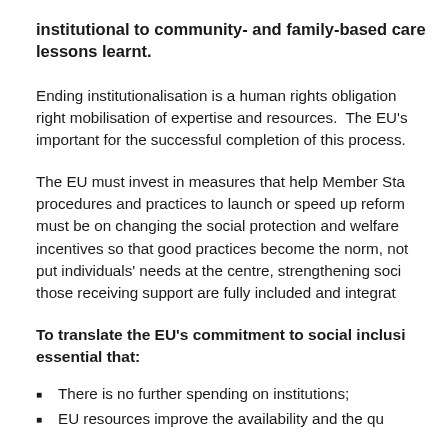institutional to community- and family-based care lessons learnt.
Ending institutionalisation is a human rights obligation and requires the right mobilisation of expertise and resources. The EU's role is important for the successful completion of this process.
The EU must invest in measures that help Member States change procedures and practices to launch or speed up reform. The focus must be on changing the social protection and welfare financing incentives so that good practices become the norm, not the exception, put individuals' needs at the centre, strengthening social ties so that those receiving support are fully included and integrated.
To translate the EU's commitment to social inclusion, it is essential that:
There is no further spending on institutions;
EU resources improve the availability and the quality of...